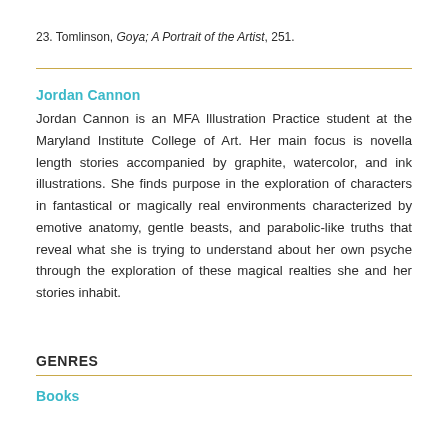23. Tomlinson, Goya; A Portrait of the Artist, 251.
Jordan Cannon
Jordan Cannon is an MFA Illustration Practice student at the Maryland Institute College of Art. Her main focus is novella length stories accompanied by graphite, watercolor, and ink illustrations. She finds purpose in the exploration of characters in fantastical or magically real environments characterized by emotive anatomy, gentle beasts, and parabolic-like truths that reveal what she is trying to understand about her own psyche through the exploration of these magical realties she and her stories inhabit.
GENRES
Books